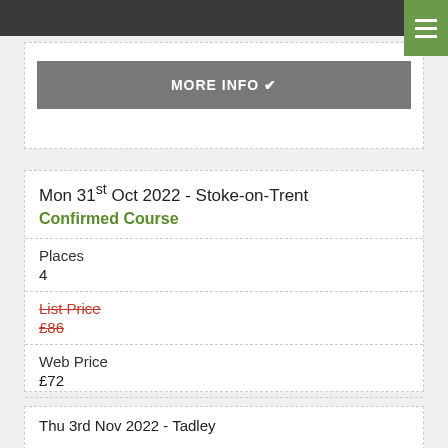MORE INFO ✓
Mon 31st Oct 2022 - Stoke-on-Trent
Confirmed Course
Places
4
List Price
£86
Web Price
£72
MORE INFO ✓
Thu 3rd Nov 2022 - Tadley